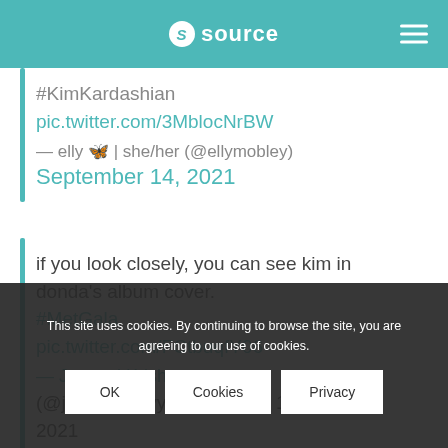source
#KimKardashian pic.twitter.com/3MblocNrBW
— elly 🦋 | she/her (@ellymobley) September 14, 2021
if you look closely, you can see kim in donda's album cover. #MetGala pic.twitter.com/FCtbuqfY06
— Jannayl Krishnan (@jannayl_jayy) September 14, 2021
This site uses cookies. By continuing to browse the site, you are agreeing to our use of cookies.
OK | Cookies | Privacy